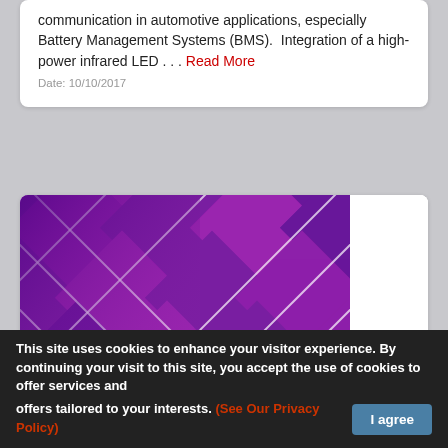communication in automotive applications, especially Battery Management Systems (BMS).  Integration of a high-power infrared LED . . . Read More
Date: 10/10/2017
[Figure (logo): TRU Components - Parts for Your Ideas. Purple/magenta diamond grid pattern logo on white background with company name and tagline.]
This site uses cookies to enhance your visitor experience. By continuing your visit to this site, you accept the use of cookies to offer services and offers tailored to your interests. (See Our Privacy Policy) I agree